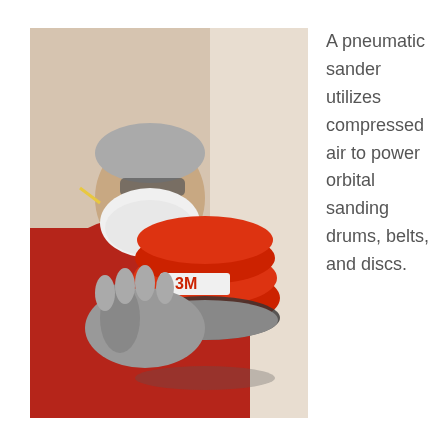[Figure (photo): A person wearing a red jacket, safety glasses, and a white respirator mask, holding a red 3M pneumatic orbital sander against a wall while wearing grey gloves.]
A pneumatic sander utilizes compressed air to power orbital sanding drums, belts, and discs.